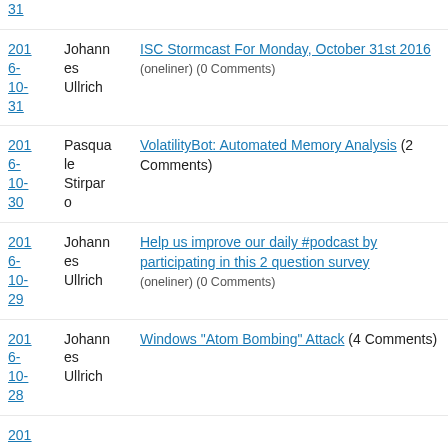2016-10-31 | Johannes Ullrich | ISC Stormcast For Monday, October 31st 2016 (oneliner) (0 Comments)
2016-10-30 | Pasquale Stirparo | VolatilityBot: Automated Memory Analysis (2 Comments)
2016-10-29 | Johannes Ullrich | Help us improve our daily #podcast by participating in this 2 question survey (oneliner) (0 Comments)
2016-10-28 | Johannes Ullrich | Windows "Atom Bombing" Attack (4 Comments)
201...